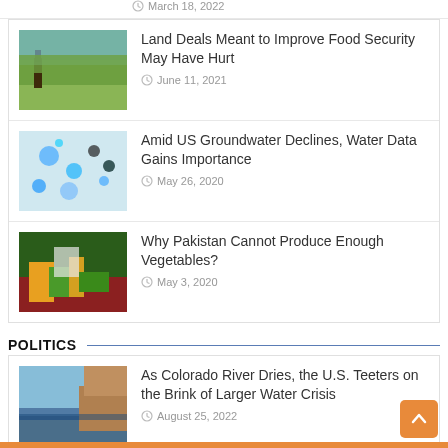March 18, 2022
[Figure (photo): Agricultural field with a person farming]
Land Deals Meant to Improve Food Security May Have Hurt
June 11, 2021
[Figure (photo): Aerial map/satellite view with colorful dots]
Amid US Groundwater Declines, Water Data Gains Importance
May 26, 2020
[Figure (photo): Market vendor with vegetables and produce]
Why Pakistan Cannot Produce Enough Vegetables?
May 3, 2020
POLITICS
[Figure (photo): Colorado River reservoir with low water level]
As Colorado River Dries, the U.S. Teeters on the Brink of Larger Water Crisis
August 25, 2022